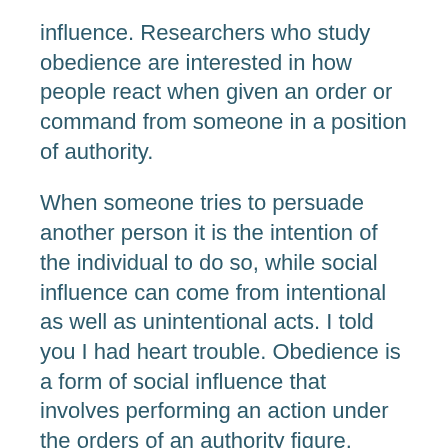influence. Researchers who study obedience are interested in how people react when given an order or command from someone in a position of authority.
When someone tries to persuade another person it is the intention of the individual to do so, while social influence can come from intentional as well as unintentional acts. I told you I had heart trouble. Obedience is a form of social influence that involves performing an action under the orders of an authority figure.
It differs from compliance (which involves changing your behavior at the request of another person) and conformity (which involves altering your behavior in order to go along with the rest of the group). Instead, obedience involves altering your behavior because a figure of.
Learn what the concept of obedience means in